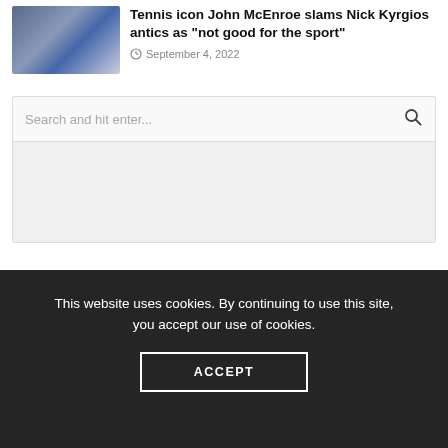[Figure (photo): Thumbnail image of two people, one appearing to shout, related to tennis article]
Tennis icon John McEnroe slams Nick Kyrgios antics as "not good for the sport"
September 4, 2022
Search and hit enter...
This website uses cookies. By continuing to use this site, you accept our use of cookies.
ACCEPT